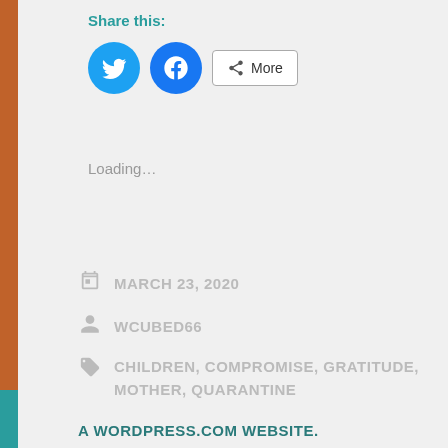Share this:
[Figure (infographic): Social share buttons: Twitter (blue circle), Facebook (blue circle), and a More button with share icon]
Loading...
MARCH 23, 2020
WCUBED66
CHILDREN, COMPROMISE, GRATITUDE, MOTHER, QUARANTINE
A WORDPRESS.COM WEBSITE.